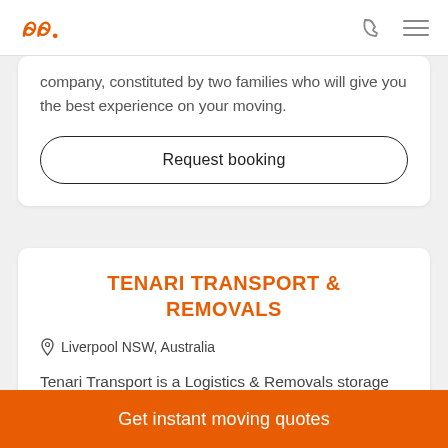Logo and navigation header
company, constituted by two families who will give you the best experience on your moving.
Request booking
TENARI TRANSPORT & REMOVALS
Liverpool NSW, Australia
Tenari Transport is a Logistics & Removals storage solutions company located in West Melbourne, Victoria, Australia.
Get instant moving quotes